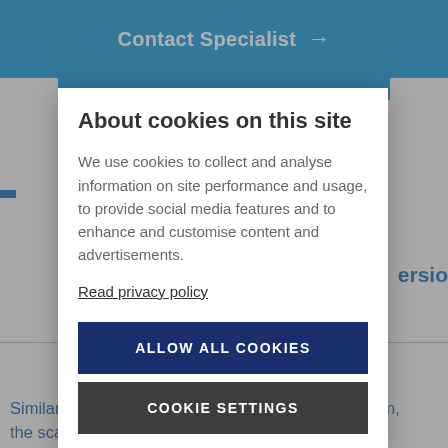Contact Specialist →
About cookies on this site
We use cookies to collect and analyse information on site performance and usage, to provide social media features and to enhance and customise content and advertisements.
Read privacy policy
ALLOW ALL COOKIES
COOKIE SETTINGS
Similar to the way water or electricity meters function, the scale registers the total weight of the product